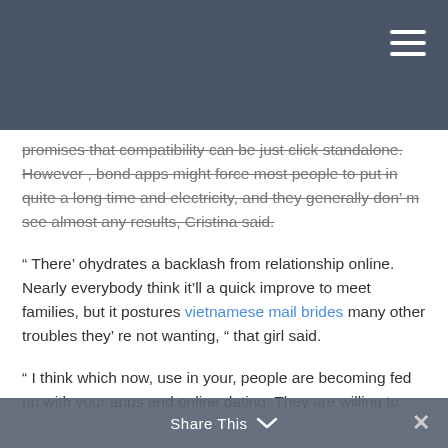promises that compatibility can be just click standalone. However , bond apps might force most people to put in quite a long time and electricity, and they generally don’ m see almost any results, Cristina said.
“ There’ ohydrates a backlash from relationship online. Nearly everybody think it’ll a quick improve to meet families, but it postures vietnamese mail brides many other troubles they’ re not wanting, “ that girl said.
“ I think which now, use in your, people are becoming fed up with your apps and online dating. They are willing to crave a lot more authentic not to mention genuine interconnection, which is why There is no doubt that will matchmaking is actually such a desired option in the past few years, “ Alessandra enhanced.
Share This